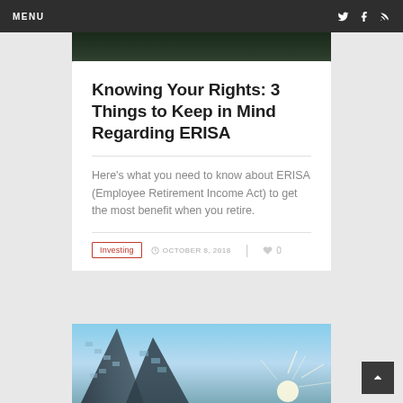MENU
[Figure (photo): Partial cropped photo, dark foliage/trees background at top of page]
Knowing Your Rights: 3 Things to Keep in Mind Regarding ERISA
Here's what you need to know about ERISA (Employee Retirement Income Act) to get the most benefit when you retire.
Investing · OCTOBER 8, 2018 · 0 likes
[Figure (photo): Photograph of a modern glass office building from below, with sun flare in lower right, blue sky background]